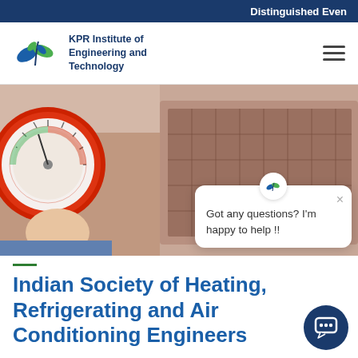Distinguished Even
[Figure (logo): KPR Institute of Engineering and Technology logo with leaf/plant emblem]
KPR Institute of Engineering and Technology
[Figure (photo): Person holding a refrigeration pressure gauge in front of an HVAC unit]
Got any questions? I'm happy to help !!
Indian Society of Heating, Refrigerating and Air Conditioning Engineers